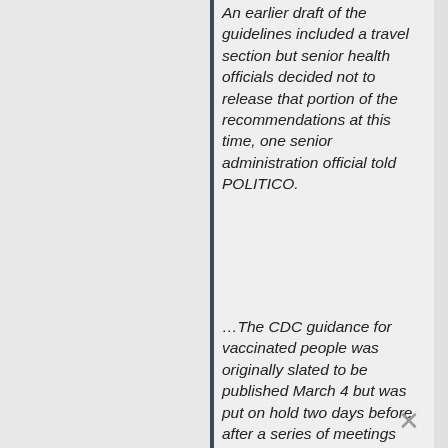An earlier draft of the guidelines included a travel section but senior health officials decided not to release that portion of the recommendations at this time, one senior administration official told POLITICO.
…The CDC guidance for vaccinated people was originally slated to be published March 4 but was put on hold two days before after a series of meetings and calls between health and communications officials, as POLITICO first